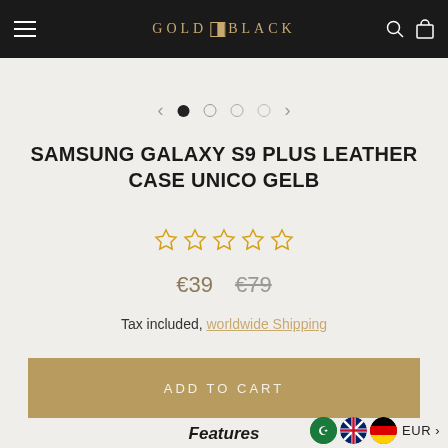GOLD■BLACK
[Figure (other): Carousel navigation dots with left and right arrows. One filled dot (active) and three empty circles.]
SAMSUNG GALAXY S9 PLUS LEATHER CASE UNICO GELB
[Figure (other): Five star rating icons in gold/yellow outline style (empty stars)]
€39  €79
Tax included, worldwide Shipping
ADD TO CART
Features